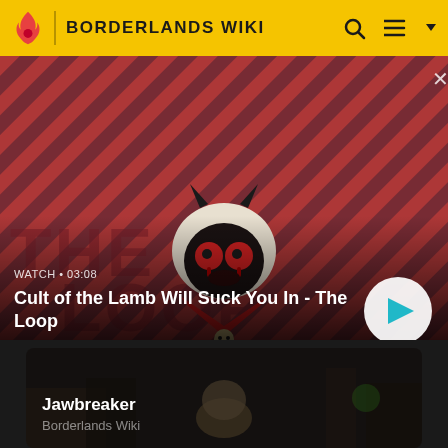BORDERLANDS WIKI
[Figure (screenshot): Cult of the Lamb video thumbnail with diagonal red and dark striped background, cartoon lamb character with devil horns and red eyes in center, THE LOOP text partially visible]
WATCH • 03:08
Cult of the Lamb Will Suck You In - The Loop
[Figure (screenshot): Jawbreaker article card showing dark Borderlands game scene]
Jawbreaker
Borderlands Wiki
[Figure (screenshot): Partial card showing Borderlands in-game screenshot at bottom of page]